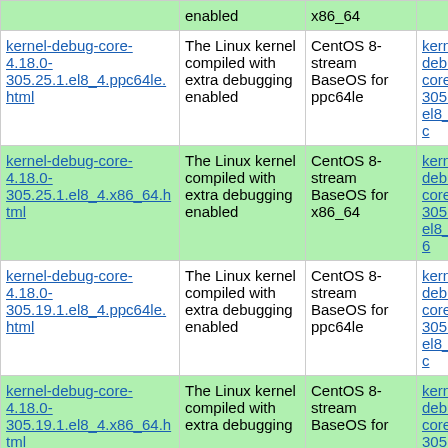| Name | Summary | Distribution | Link |
| --- | --- | --- | --- |
| [truncated top row] | enabled | x86_64 |  |
| kernel-debug-core-4.18.0-305.25.1.el8_4.ppc64le.html | The Linux kernel compiled with extra debugging enabled | CentOS 8-stream BaseOS for ppc64le | kernel-debug-core-305.25.1.el8_4.ppc... |
| kernel-debug-core-4.18.0-305.25.1.el8_4.x86_64.html | The Linux kernel compiled with extra debugging enabled | CentOS 8-stream BaseOS for x86_64 | kernel-debug-core-305.25.1.el8_4.x86... |
| kernel-debug-core-4.18.0-305.19.1.el8_4.ppc64le.html | The Linux kernel compiled with extra debugging enabled | CentOS 8-stream BaseOS for ppc64le | kernel-debug-core-305.19.1.el8_4.ppc... |
| kernel-debug-core-4.18.0-305.19.1.el8_4.x86_64.html | The Linux kernel compiled with extra debugging enabled | CentOS 8-stream BaseOS for x86_64 [truncated] | kernel-debug-core-305.19.1.el8_4.x86... |